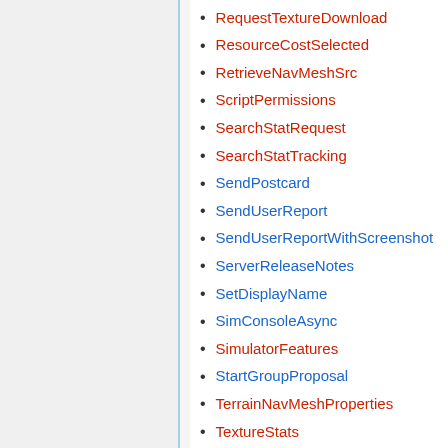RequestTextureDownload
ResourceCostSelected
RetrieveNavMeshSrc
ScriptPermissions
SearchStatRequest
SearchStatTracking
SendPostcard
SendUserReport
SendUserReportWithScreenshot
ServerReleaseNotes
SetDisplayName
SimConsoleAsync
SimulatorFeatures
StartGroupProposal
TerrainNavMeshProperties
TextureStats
TwitterConnect
UntrustedSimulatorMessage
UpdateAgentInformation